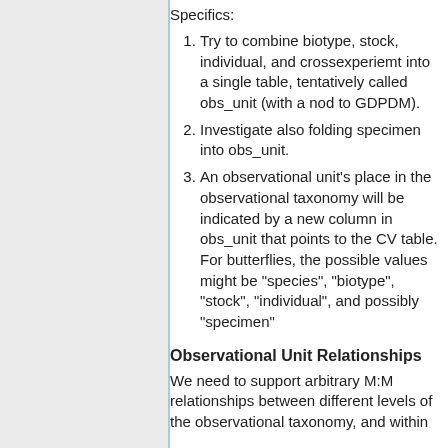Specifics:
Try to combine biotype, stock, individual, and crossexperiemt into a single table, tentatively called obs_unit (with a nod to GDPDM).
Investigate also folding specimen into obs_unit.
An observational unit's place in the observational taxonomy will be indicated by a new column in obs_unit that points to the CV table. For butterflies, the possible values might be "species", "biotype", "stock", "individual", and possibly "specimen"
Observational Unit Relationships
We need to support arbitrary M:M relationships between different levels of the observational taxonomy, and within